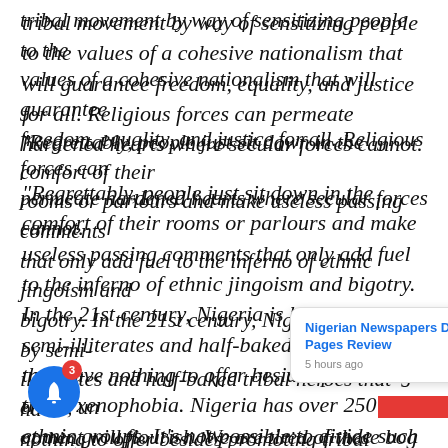tribal movement by way of sensitizing people to the values of a cohesive nationalism that will guarantee freedom, equality, and justice for all. Religious forces can permeate hardened hearts where secular forces cannot.
“Regrettably, people just sit down in the comfort of their rooms or parlours and make useless passing comments that only add fuel to the inferno of ethnic jingoism and bigotry. In the 21st century, Nigeria is hijacked by semi-illiterates and half-baked tribal heroes that have nothing to offer besides promoting tribal xenophobia. Nigeria has over 250 ethnic groups. It’s not possible to divide such a nation into tribal enclaves. Nigeria is multi-religious, even within the same religion or sect, there is no harmony a…erous, un…opment will flourish. We are tired of these bog…destructive fruitless slogans!
Nigerian Newspapers Daily Front Pages Review
5 hours ago